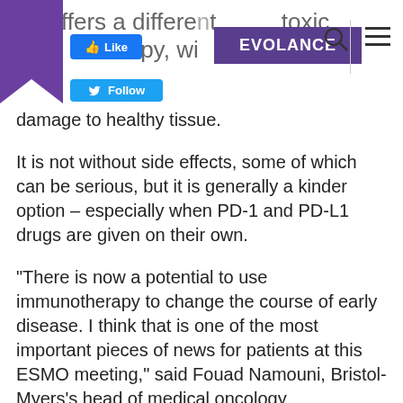EVOLANCE
offers a different … toxic chemotherapy, without the collateral damage to healthy tissue.
It is not without side effects, some of which can be serious, but it is generally a kinder option – especially when PD-1 and PD-L1 drugs are given on their own.
“There is now a potential to use immunotherapy to change the course of early disease. I think that is one of the most important pieces of news for patients at this ESMO meeting,” said Fouad Namouni, Bristol-Myers’s head of medical oncology development.